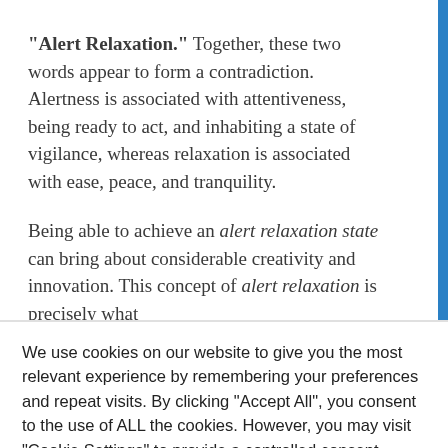“Alert Relaxation.” Together, these two words appear to form a contradiction. Alertness is associated with attentiveness, being ready to act, and inhabiting a state of vigilance, whereas relaxation is associated with ease, peace, and tranquility.
Being able to achieve an alert relaxation state can bring about considerable creativity and innovation. This concept of alert relaxation is precisely what
We use cookies on our website to give you the most relevant experience by remembering your preferences and repeat visits. By clicking “Accept All”, you consent to the use of ALL the cookies. However, you may visit “Cookie Settings” to provide a controlled consent.